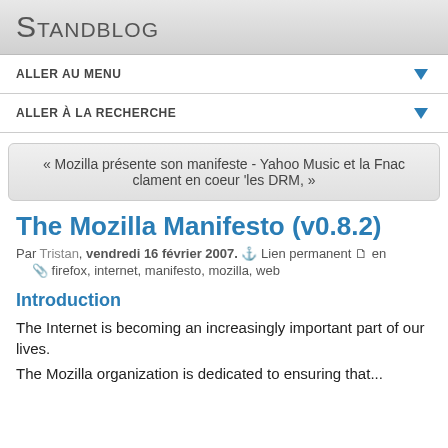Standblog
ALLER AU MENU
ALLER À LA RECHERCHE
« Mozilla présente son manifeste - Yahoo Music et la Fnac clament en coeur 'les DRM, »
The Mozilla Manifesto (v0.8.2)
Par Tristan, vendredi 16 février 2007. ⚓ Lien permanent 🗋 en
🏷 firefox, internet, manifesto, mozilla, web
Introduction
The Internet is becoming an increasingly important part of our lives.
The Mozilla organization is dedicated to ensuring that...